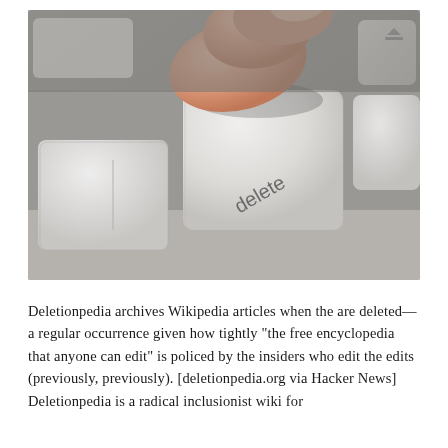[Figure (photo): Close-up photograph of a finger pressing the 'delete' key on a silver Apple-style keyboard. The delete key label is visible in gray text on a white/silver key. Adjacent keys are partially visible.]
Deletionpedia archives Wikipedia articles when the are deleted—a regular occurrence given how tightly "the free encyclopedia that anyone can edit" is policed by the insiders who edit the edits (previously, previously). [deletionpedia.org via Hacker News] Deletionpedia is a radical inclusionist wiki for